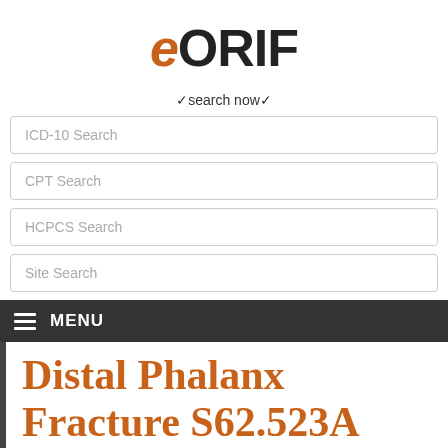eORIF
✓search now✓
ICD-10 Search
CPT Search
HCPCS Search
Site Search
≡ MENU
Distal Phalanx Fracture S62.523A 816.02